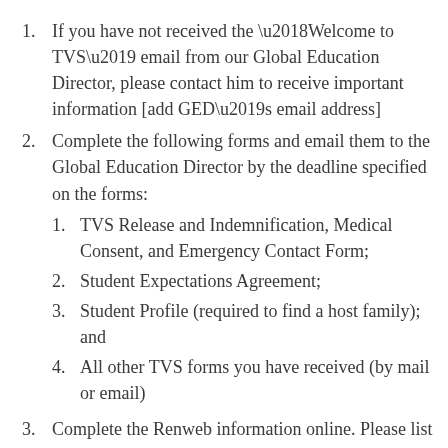If you have not received the ‘Welcome to TVS’ email from our Global Education Director, please contact him to receive important information [add GED’s email address]
Complete the following forms and email them to the Global Education Director by the deadline specified on the forms:
TVS Release and Indemnification, Medical Consent, and Emergency Contact Form;
Student Expectations Agreement;
Student Profile (required to find a host family); and
All other TVS forms you have received (by mail or email)
Complete the Renweb information online. Please list at least one parent’s phone number/email